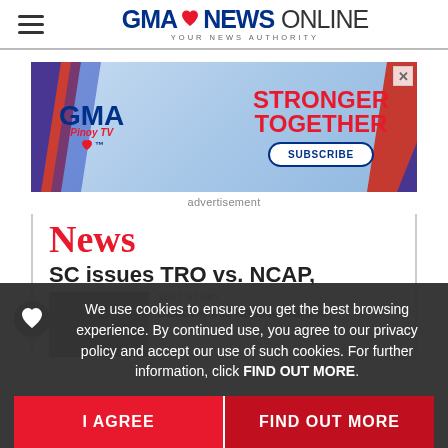GMA News Online — Your News Authority
[Figure (screenshot): GMA Pinoy TV advertisement banner with 'Stronger Together' text and a Subscribe button]
advertisement
News
SC issues TRO vs. NCAP,
[Figure (photo): Thumbnail image of person, partially visible behind cookie consent overlay]
NEXT STORY
Discover this Kapuso star's K-
We use cookies to ensure you get the best browsing experience. By continued use, you agree to our privacy policy and accept our use of such cookies. For further information, click FIND OUT MORE.
I AGREE
FIND OUT MORE